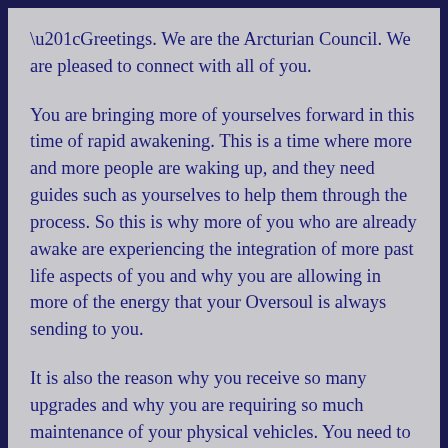“Greetings. We are the Arcturian Council. We are pleased to connect with all of you.
You are bringing more of yourselves forward in this time of rapid awakening. This is a time where more and more people are waking up, and they need guides such as yourselves to help them through the process. So this is why more of you who are already awake are experiencing the integration of more past life aspects of you and why you are allowing in more of the energy that your Oversoul is always sending to you.
It is also the reason why you receive so many upgrades and why you are requiring so much maintenance of your physical vehicles. You need to be up with those energies that are helping others...